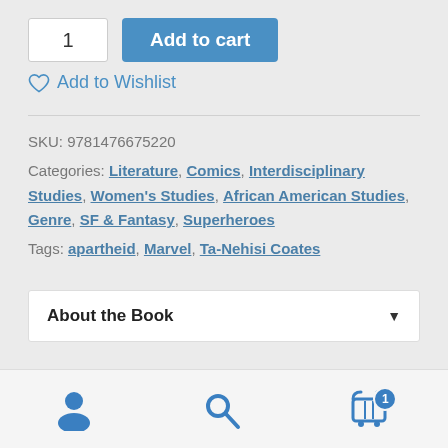1  Add to cart
♡ Add to Wishlist
SKU: 9781476675220
Categories: Literature, Comics, Interdisciplinary Studies, Women's Studies, African American Studies, Genre, SF & Fantasy, Superheroes
Tags: apartheid, Marvel, Ta-Nehisi Coates
About the Book
[Figure (infographic): Bottom navigation bar with user icon, search icon, and cart icon with badge showing 1]